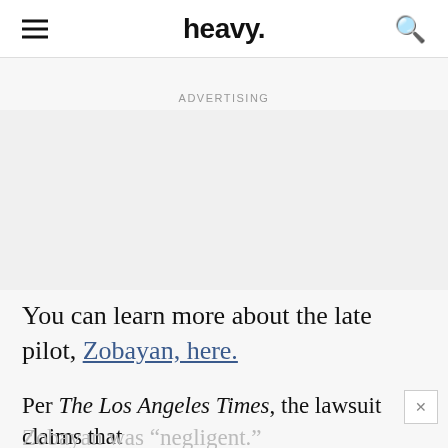heavy.
ADVERTISING
You can learn more about the late pilot, Zobayan, here.
Per The Los Angeles Times, the lawsuit claims that
Zobayan was “negligent.”